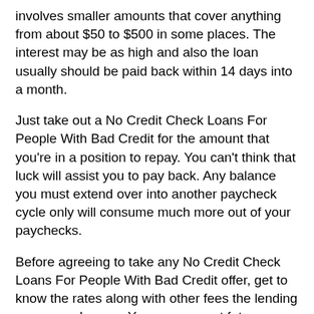involves smaller amounts that cover anything from about $50 to $500 in some places. The interest may be as high and also the loan usually should be paid back within 14 days into a month.
Just take out a No Credit Check Loans For People With Bad Credit for the amount that you're in a position to repay. You can't think that luck will assist you to pay back. Any balance you must extend over into another paycheck cycle only will consume much more out of your paychecks.
Before agreeing to take any No Credit Check Loans For People With Bad Credit offer, get to know the rates along with other fees the lending company charges. You can prevent future negative surprises by just thoroughly reading the terms and conditions.
Don't be worthwhile one No Credit Check Loans For People With Bad Credit with another. It might seem this is a great idea, however it isn't smart for too long. You should have a great deal more difficult time paying back both loans. Only